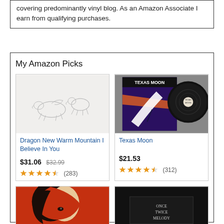covering predominantly vinyl blog. As an Amazon Associate I earn from qualifying purchases.
My Amazon Picks
[Figure (photo): Album cover for Dragon New Warm Mountain I Believe In You - pencil sketch of animals on white background]
Dragon New Warm Mountain I Believe In You
$31.06  $32.99  ★★★★☆ (283)
[Figure (photo): Album cover for Texas Moon - dark purple/blue highway scene with vinyl record]
Texas Moon
$21.53  ★★★★☆ (312)
[Figure (photo): Album cover - orange background with stylized face split between dark and light]
[Figure (photo): Album cover - black cover with white text reading Once Twice Melody]